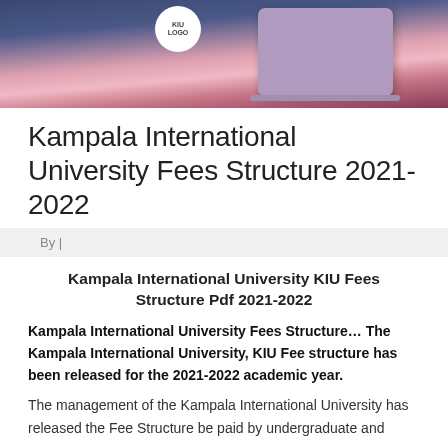[Figure (photo): Photo of a person with a laptop on a pink blanket, with a logo/circle visible in the upper portion]
Kampala International University Fees Structure 2021-2022
By |
Kampala International University KIU Fees Structure Pdf 2021-2022
Kampala International University Fees Structure… The Kampala International University, KIU Fee structure has been released for the 2021-2022 academic year.
The management of the Kampala International University has released the Fee Structure be paid by undergraduate and